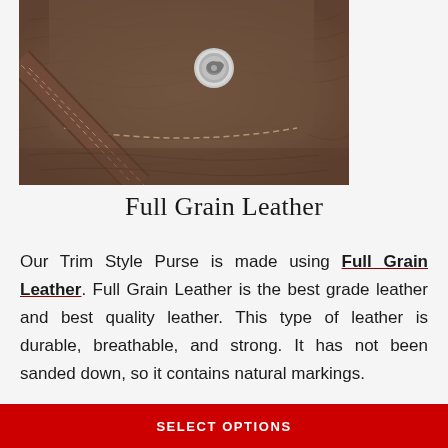[Figure (photo): Close-up photo of a brown full grain leather purse with a silver concho snap button and visible stitching on a flap.]
Full Grain Leather
Our Trim Style Purse is made using Full Grain Leather. Full Grain Leather is the best grade leather and best quality leather. This type of leather is durable, breathable, and strong. It has not been sanded down, so it contains natural markings.
SELECT OPTIONS